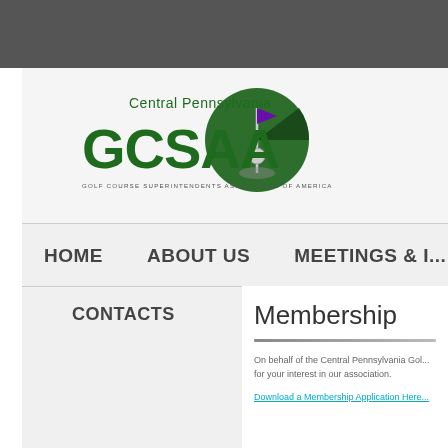[Figure (logo): Central Pennsylvania GCSAA - Golf Course Superintendents Association of America logo with green circle and golf flag]
HOME   ABOUT US   MEETINGS & I...
CONTACTS
Membership
On behalf of the Central Pennsylvania Gol... for your interest in our association.
Download a Membership Application Here...